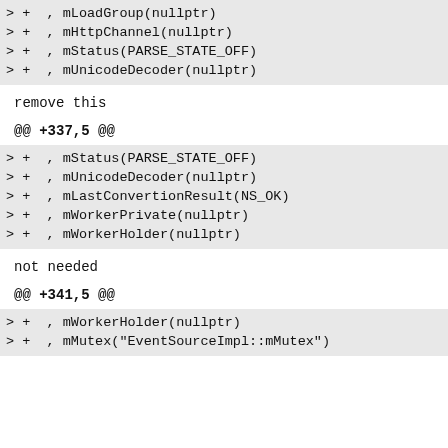> +  , mLoadGroup(nullptr)
> +  , mHttpChannel(nullptr)
> +  , mStatus(PARSE_STATE_OFF)
> +  , mUnicodeDecoder(nullptr)
remove this
@@ +337,5 @@
> +  , mStatus(PARSE_STATE_OFF)
> +  , mUnicodeDecoder(nullptr)
> +  , mLastConvertionResult(NS_OK)
> +  , mWorkerPrivate(nullptr)
> +  , mWorkerHolder(nullptr)
not needed
@@ +341,5 @@
> +  , mWorkerHolder(nullptr)
> +  , mMutex("EventSourceImpl::mMutex")